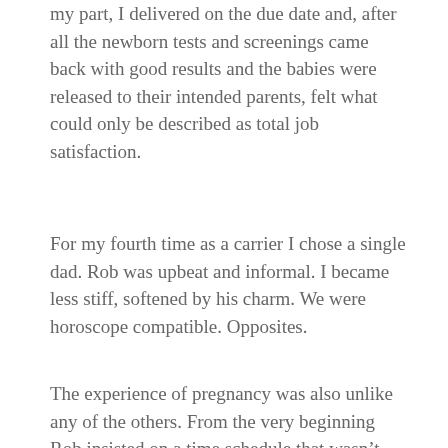my part, I delivered on the due date and, after all the newborn tests and screenings came back with good results and the babies were released to their intended parents, felt what could only be described as total job satisfaction.
For my fourth time as a carrier I chose a single dad. Rob was upbeat and informal. I became less stiff, softened by his charm. We were horoscope compatible. Opposites.
The experience of pregnancy was also unlike any of the others. From the very beginning Rob insisted on a time schedule that wasn’t just about doctor’s appointments and baby talk, but gave us time to get to know each other as individuals. Maybe partnership works better when there are